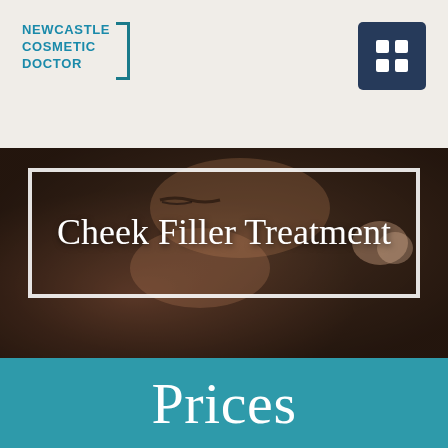Newcastle Cosmetic Doctor
[Figure (photo): Close-up photo of a woman's face receiving a cosmetic filler injection near the cheek/eye area, dark tinted background]
Cheek Filler Treatment
Prices